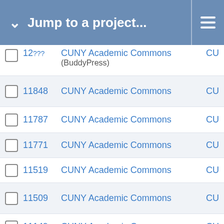Jump to a project...
12??? CUNY Academic Commons (BuddyPress) CU
11848 CUNY Academic Commons CU
11787 CUNY Academic Commons CU
11771 CUNY Academic Commons CU
11519 CUNY Academic Commons CU
11509 CUNY Academic Commons CU
11149 CUNY Academic Commons CU
10657 CUNY Academic Commons CU